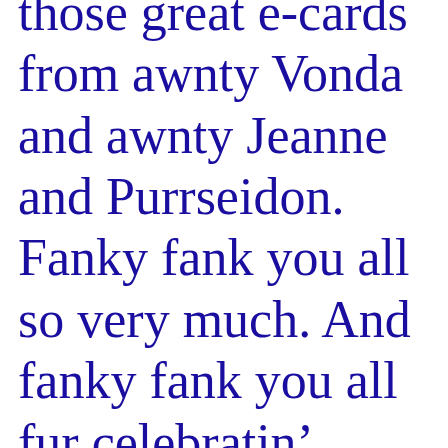those great e-cards from awnty Vonda and awnty Jeanne and Purrseidon. Fanky fank you all so very much. And fanky fank you all fur celebratin’ mine’s 2nd birthday.